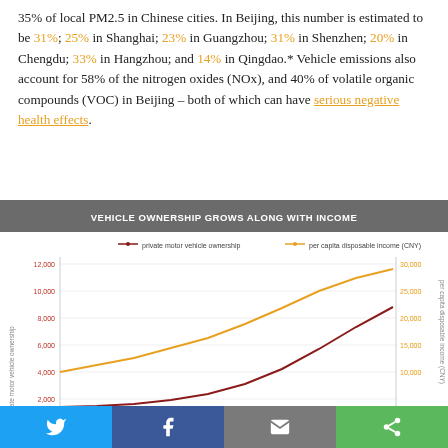35% of local PM2.5 in Chinese cities. In Beijing, this number is estimated to be 31%; 25% in Shanghai; 23% in Guangzhou; 31% in Shenzhen; 20% in Chengdu; 33% in Hangzhou; and 14% in Qingdao.* Vehicle emissions also account for 58% of the nitrogen oxides (NOx), and 40% of volatile organic compounds (VOC) in Beijing – both of which can have serious negative health effects.
[Figure (line-chart): VEHICLE OWNERSHIP GROWS ALONG WITH INCOME]